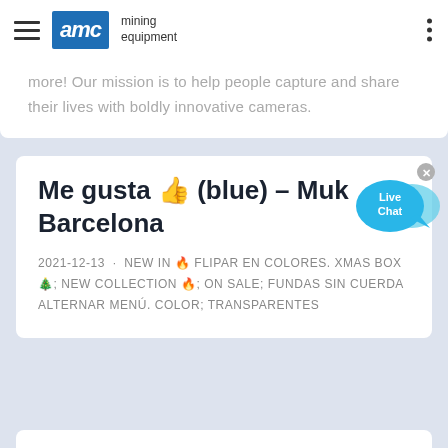AMC mining equipment
more! Our mission is to help people capture and share their lives with boldly innovative cameras.
Me gusta 👍 (blue) – Muk Barcelona
2021-12-13 · NEW IN 🔥 FLIPAR EN COLORES. XMAS BOX 🎄; NEW COLLECTION 🔥; ON SALE; FUNDAS SIN CUERDA Alternar menú. Color; Transparentes
Christie"s Auctions & Private